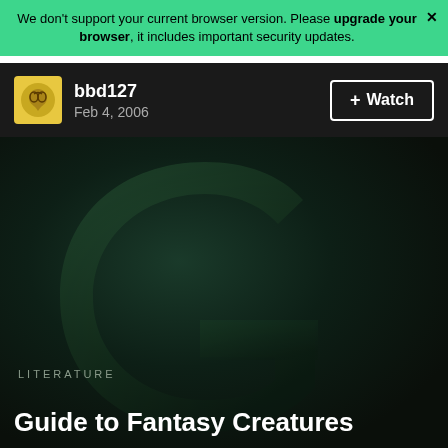We don't support your current browser version. Please upgrade your browser, it includes important security updates.
bbd127
Feb 4, 2006
+ Watch
[Figure (screenshot): Dark background with large stylized letter G in dark green gradient tones, forming a decorative backdrop]
LITERATURE
Guide to Fantasy Creatures